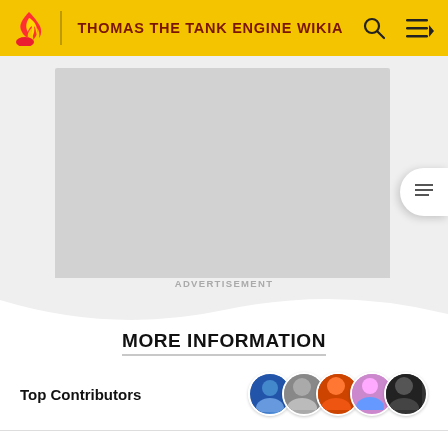THOMAS THE TANK ENGINE WIKIA
[Figure (other): Advertisement placeholder area with gray rectangle]
ADVERTISEMENT
MORE INFORMATION
Top Contributors
Categories
Other Languages:
*Disclosure: Some of the links above are affiliate links